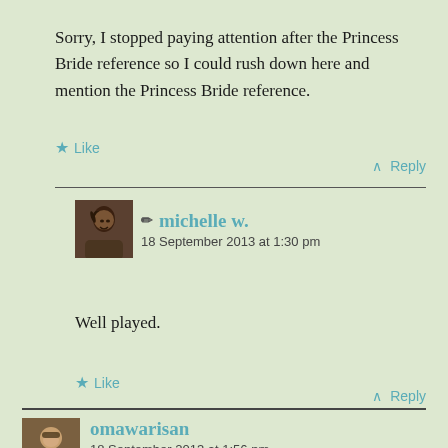Sorry, I stopped paying attention after the Princess Bride reference so I could rush down here and mention the Princess Bride reference.
★ Like
↑ Reply
michelle w. — 18 September 2013 at 1:30 pm
Well played.
★ Like
↑ Reply
omawarisan — 18 September 2013 at 1:56 pm